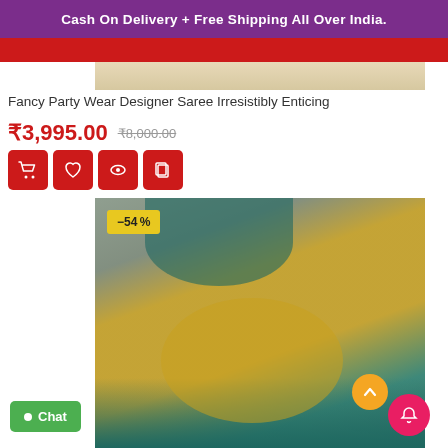Cash On Delivery + Free Shipping All Over India.
[Figure (photo): Top portion of a product listing image (cropped), beige/peach colored background visible]
Fancy Party Wear Designer Saree Irresistibly Enticing
₹3,995.00  ₹8,000.00 (strikethrough)
[Figure (screenshot): Four red action buttons: cart, wishlist/heart, eye/view, and copy/compare icons]
[Figure (photo): Woman wearing a yellow and teal/green designer saree with embroidery, jewelry, posing in front of decorative statues. Discount badge showing -54% in yellow.]
Chat
-54%